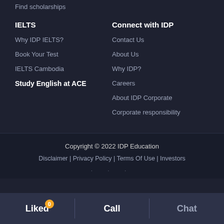Find scholarships
IELTS
Why IDP IELTS?
Book Your Test
IELTS Cambodia
Study English at ACE
Connect with IDP
Contact Us
About Us
Why IDP?
Careers
About IDP Corporate
Corporate responsibility
Copyright © 2022 IDP Education
Disclaimer | Privacy Policy | Terms Of Use | Investors